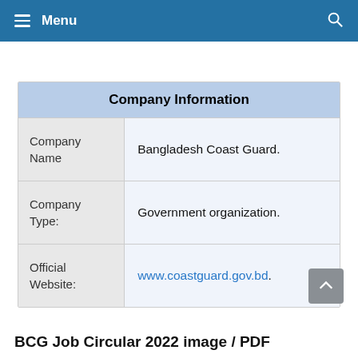Menu
| Company Information |
| --- |
| Company Name | Bangladesh Coast Guard. |
| Company Type: | Government organization. |
| Official Website: | www.coastguard.gov.bd. |
BCG Job Circular 2022 image / PDF